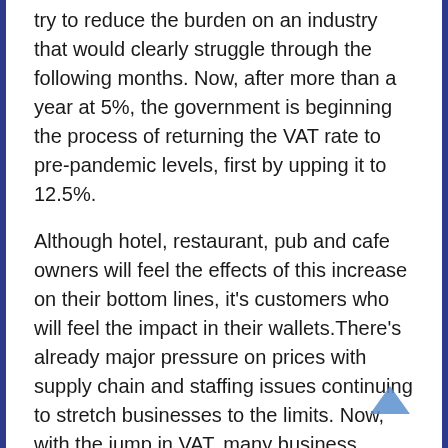try to reduce the burden on an industry that would clearly struggle through the following months. Now, after more than a year at 5%, the government is beginning the process of returning the VAT rate to pre-pandemic levels, first by upping it to 12.5%.
Although hotel, restaurant, pub and cafe owners will feel the effects of this increase on their bottom lines, it's customers who will feel the impact in their wallets.There's already major pressure on prices with supply chain and staffing issues continuing to stretch businesses to the limits. Now, with the jump in VAT, many business owners will have to change their pricing yet again.
SURVIVAL TACTICS
Trade bodies representing the hospitality industry claim that restaurateurs, cafe and pub owners across the country are changing their pricing yet again.